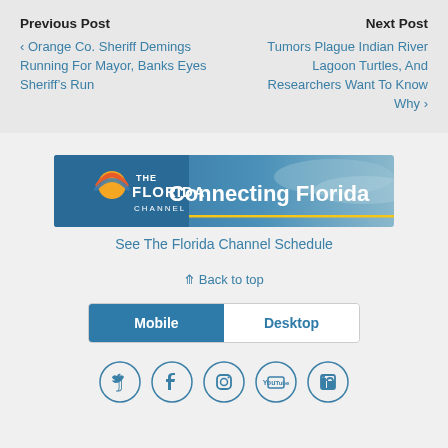Previous Post
‹ Orange Co. Sheriff Demings Running For Mayor, Banks Eyes Sheriff's Run
Next Post
Tumors Plague Indian River Lagoon Turtles, And Researchers Want To Know Why ›
[Figure (illustration): The Florida Channel banner with logo and text 'Connecting Florida']
See The Florida Channel Schedule
⇑ Back to top
Mobile | Desktop
[Figure (infographic): Social media icons: Twitter, Facebook, Instagram, YouTube, LinkedIn]